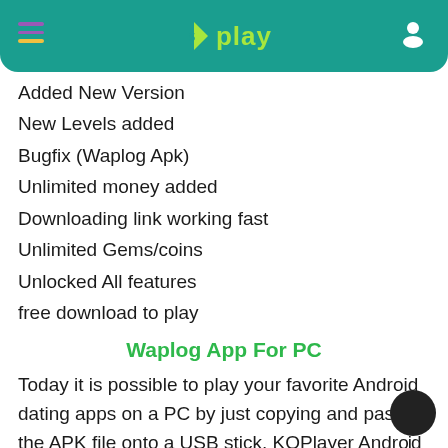5play
Added New Version
New Levels added
Bugfix (Waplog Apk)
Unlimited money added
Downloading link working fast
Unlimited Gems/coins
Unlocked All features
free download to play
Waplog App For PC
Today it is possible to play your favorite Android dating apps on a PC by just copying and pasting the APK file onto a USB stick. KOPlayer Android Emulator is one of the best app players out